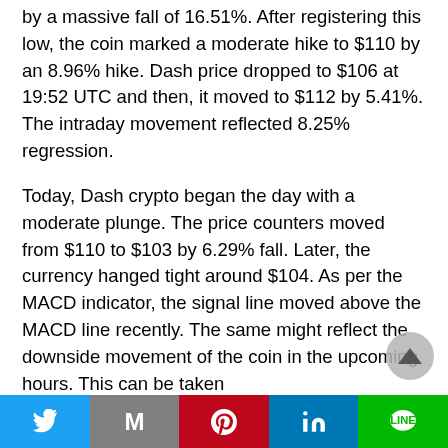by a massive fall of 16.51%. After registering this low, the coin marked a moderate hike to $110 by an 8.96% hike. Dash price dropped to $106 at 19:52 UTC and then, it moved to $112 by 5.41%. The intraday movement reflected 8.25% regression.
Today, Dash crypto began the day with a moderate plunge. The price counters moved from $110 to $103 by 6.29% fall. Later, the currency hanged tight around $104. As per the MACD indicator, the signal line moved above the MACD line recently. The same might reflect the downside movement of the coin in the upcoming hours. This can be taken
Twitter | Gmail | Pinterest | LinkedIn | LINE